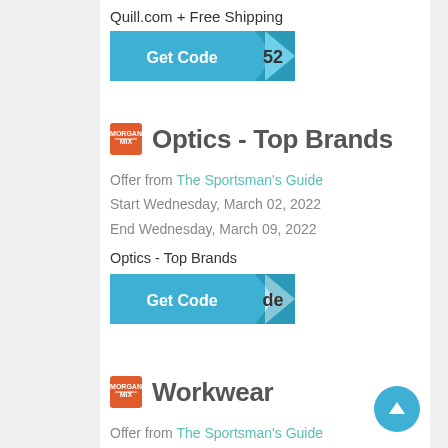Quill.com + Free Shipping
[Figure (other): Get Code button with code partially visible showing '52']
Optics - Top Brands
Offer from The Sportsman's Guide
Start Wednesday, March 02, 2022
End Wednesday, March 09, 2022
Optics - Top Brands
[Figure (other): Get Code button with code partially visible showing 'de']
Workwear
Offer from The Sportsman's Guide
Start Wednesday, March 02, 2022
End Wednesday, March 09, 2022
Workwear